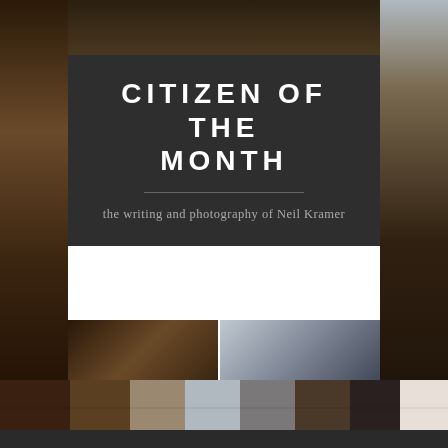[Figure (photo): Website header with dark overlay banner containing site title 'CITIZEN OF THE MONTH' and tagline 'the writing and photography of Neil Kramer', with a photo collage background showing urban/architectural imagery]
CITIZEN OF THE MONTH
the writing and photography of Neil Kramer
TAG: LIFE IN GENERAL (PAGE 1 OF 2)
Life with Mother
JUNE 3, 2013 / 38 COMMENTS
The best lesson that I can teach you, after eight